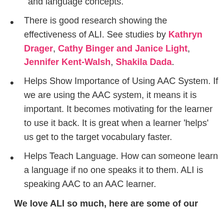model and prompt the target communication and language concepts.
There is good research showing the effectiveness of ALI. See studies by Kathryn Drager, Cathy Binger and Janice Light, Jennifer Kent-Walsh, Shakila Dada.
Helps Show Importance of Using AAC System. If we are using the AAC system, it means it is important. It becomes motivating for the learner to use it back. It is great when a learner ‘helps’ us get to the target vocabulary faster.
Helps Teach Language. How can someone learn a language if no one speaks it to them. ALI is speaking AAC to an AAC learner.
We love ALI so much, here are some of our